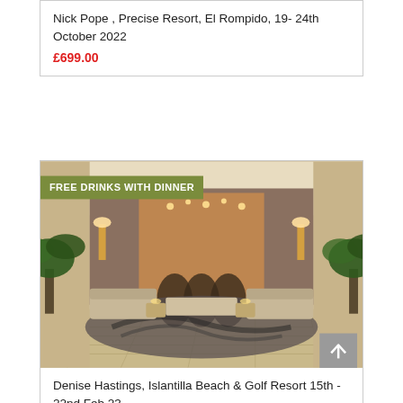Nick Pope , Precise Resort, El Rompido, 19- 24th October 2022
£699.00
[Figure (photo): Hotel lobby interior with luxury seating, tropical plants, warm lighting, and a view through large windows. Badge: FREE DRINKS WITH DINNER]
Denise Hastings, Islantilla Beach & Golf Resort 15th - 22nd Feb 23
£899.00